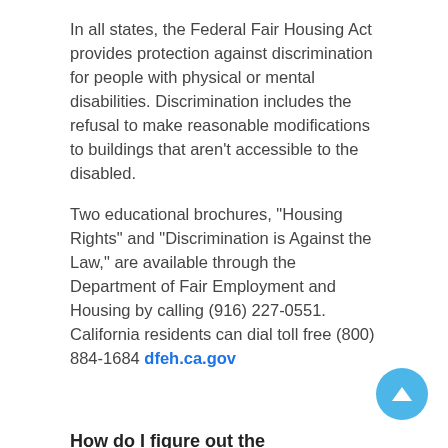In all states, the Federal Fair Housing Act provides protection against discrimination for people with physical or mental disabilities. Discrimination includes the refusal to make reasonable modifications to buildings that aren't accessible to the disabled.
Two educational brochures, "Housing Rights" and "Discrimination is Against the Law," are available through the Department of Fair Employment and Housing by calling (916) 227-0551. California residents can dial toll free (800) 884-1684 dfeh.ca.gov
How do I figure out the homeowners association?
Learn everything you can about the homeowners association before you buy into a development governed by one. The association's financial, political and legal conditions are very important to your investment and quality of life.